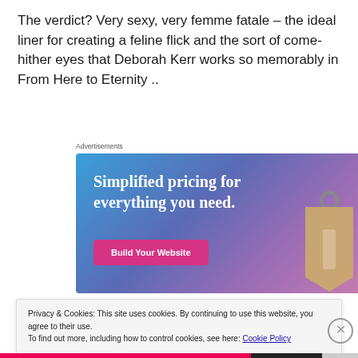The verdict? Very sexy, very femme fatale – the ideal liner for creating a feline flick and the sort of come-hither eyes that Deborah Kerr works so memorably in From Here to Eternity ..
[Figure (other): Advertisement banner with blue-purple gradient background. Text reads 'Simplified pricing for everything you need.' with a pink 'Build Your Website' button and a price tag image on the right.]
Privacy & Cookies: This site uses cookies. By continuing to use this website, you agree to their use.
To find out more, including how to control cookies, see here: Cookie Policy
Close and accept